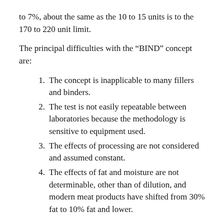to 7%, about the same as the 10 to 15 units is to the 170 to 220 unit limit.
The principal difficulties with the “BIND” concept are:
The concept is inapplicable to many fillers and binders.
The test is not easily repeatable between laboratories because the methodology is sensitive to equipment used.
The effects of processing are not considered and assumed constant.
The effects of fat and moisture are not determinable, other than of dilution, and modern meat products have shifted from 30% fat to 10% fat and lower.